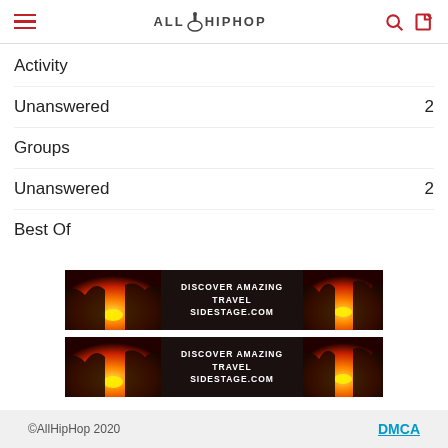AllHipHop
Activity
Unanswered  2
Groups
Unanswered  2
Best Of
[Figure (infographic): Advertisement banner for sidestage.com - Discover Amazing Travel, with sunset over rocky cliffs images on left and right sides]
[Figure (infographic): Advertisement banner for sidestage.com - Discover Amazing Travel, with sunset over rocky cliffs images on left and right sides (duplicate)]
©AllHipHop 2020   DMCA